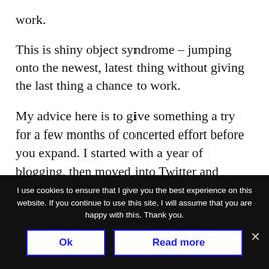work.
This is shiny object syndrome – jumping onto the newest, latest thing without giving the last thing a chance to work.
My advice here is to give something a try for a few months of concerted effort before you expand. I started with a year of blogging, then moved into Twitter and podcasting, later I went with Facebook and video. There are very easy
I use cookies to ensure that I give you the best experience on this website. If you continue to use this site, I will assume that you are happy with this. Thank you.